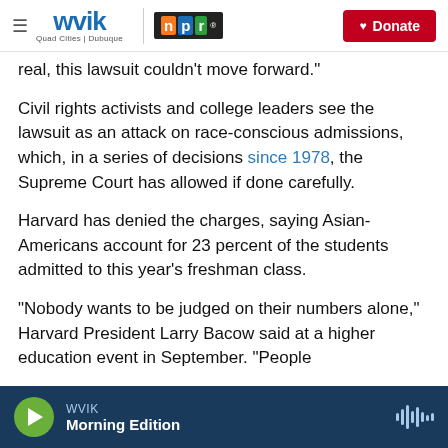WVIK | NPR — Quad Cities | Dubuque — Donate
real, this lawsuit couldn't move forward."
Civil rights activists and college leaders see the lawsuit as an attack on race-conscious admissions, which, in a series of decisions since 1978, the Supreme Court has allowed if done carefully.
Harvard has denied the charges, saying Asian-Americans account for 23 percent of the students admitted to this year's freshman class.
"Nobody wants to be judged on their numbers alone," Harvard President Larry Bacow said at a higher education event in September. "People
WVIK — Morning Edition